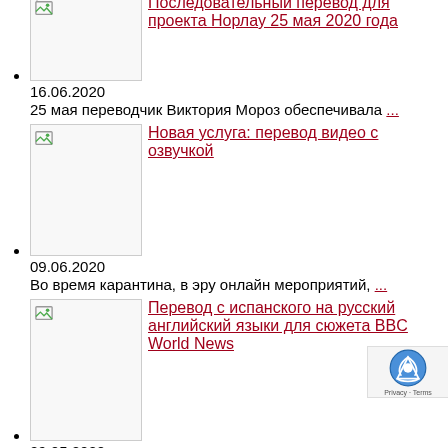Последовательный перевод для проекта Норлау 25 мая 2020 года
16.06.2020
25 мая переводчик Виктория Мороз обеспечивала ...
Новая услуга: перевод видео с озвучкой
09.06.2020
Во время карантина, в эру онлайн мероприятий, ...
Перевод с испанского на русский английский языки для сюжета BBC World News
29.05.2020
Устный переводчик Виктория Мороз 20 и 21 мая ...